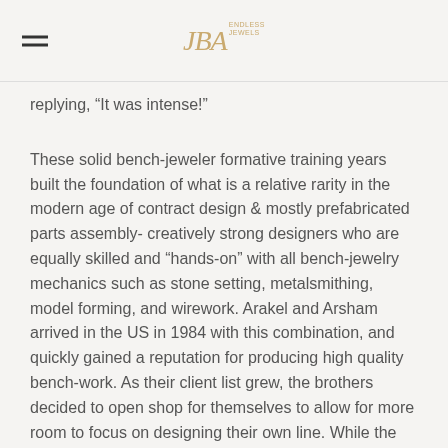JBA JEWELS
replying, “It was intense!”
These solid bench-jeweler formative training years built the foundation of what is a relative rarity in the modern age of contract design & mostly prefabricated parts assembly- creatively strong designers who are equally skilled and “hands-on” with all bench-jewelry mechanics such as stone setting, metalsmithing, model forming, and wirework. Arakel and Arsham arrived in the US in 1984 with this combination, and quickly gained a reputation for producing high quality bench-work. As their client list grew, the brothers decided to open shop for themselves to allow for more room to focus on designing their own line. While the brothers always worked with 14k or higher concentrated gold, they launched, after public demand, a